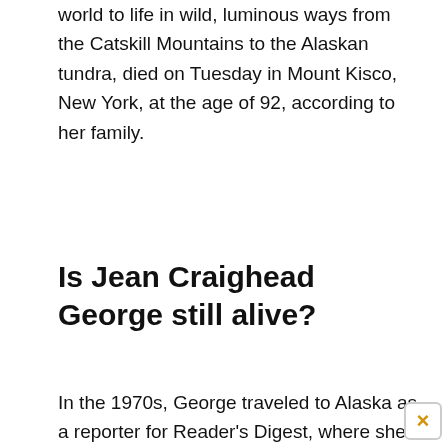world to life in wild, luminous ways from the Catskill Mountains to the Alaskan tundra, died on Tuesday in Mount Kisco, New York, at the age of 92, according to her family.
Is Jean Craighead George still alive?
In the 1970s, George traveled to Alaska as a reporter for Reader's Digest, where she was sent to Barrow, Alaska's northernmost city to cover wolf research at